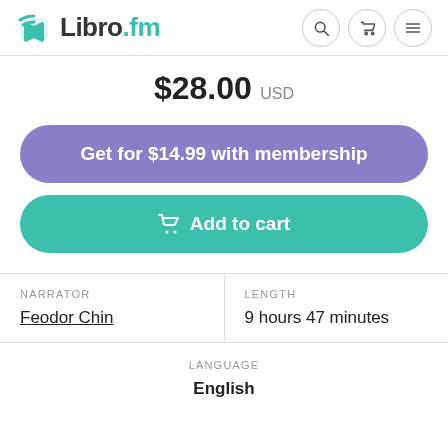Libro.fm
$28.00 USD
Get for $14.99 with membership
Add to cart
| NARRATOR | LENGTH |
| --- | --- |
| Feodor Chin | 9 hours 47 minutes |
| LANGUAGE |
| --- |
| English |